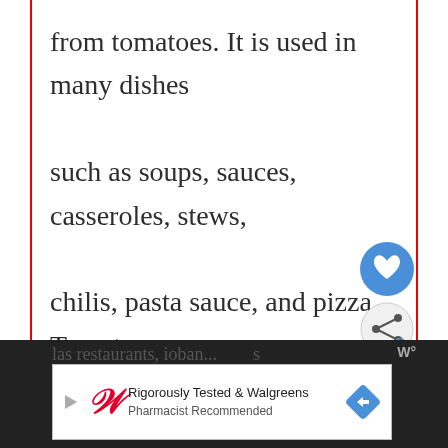from tomatoes. It is used in many dishes such as soups, sauces, casseroles, stews, chilis, pasta sauce, and pizza. Tomato puree is available canned, bottled, or frozen. In addition to being use...
[Figure (screenshot): Social media UI overlay with heart/like button (blue circle) and share button (gray circle) floating over article text]
[Figure (screenshot): What's Next widget showing a food image thumbnail with text 'WHAT'S NEXT → What happens if you eat...']
[Figure (screenshot): Dark footer bar with blurred text and a Walgreens advertisement banner: 'Rigorously Tested & Walgreens Pharmacist Recommended']